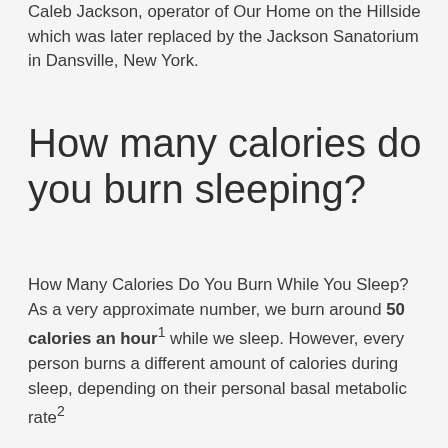Caleb Jackson, operator of Our Home on the Hillside which was later replaced by the Jackson Sanatorium in Dansville, New York.
How many calories do you burn sleeping?
How Many Calories Do You Burn While You Sleep? As a very approximate number, we burn around 50 calories an hour¹ while we sleep. However, every person burns a different amount of calories during sleep, depending on their personal basal metabolic rate²